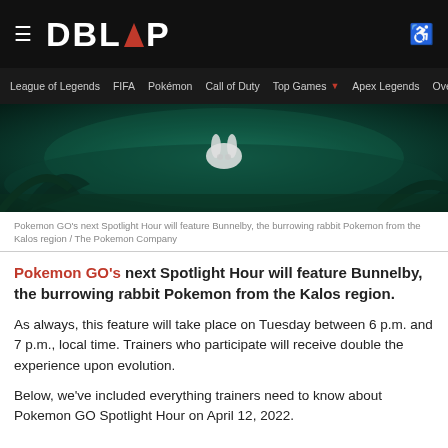DBLTAP
League of Legends  FIFA  Pokémon  Call of Duty  Top Games  Apex Legends  Overwatch
[Figure (photo): Dark, moody screenshot from Pokemon GO showing a small white Pokemon (Bunnelby) in a shadowy forest environment with teal/green atmosphere]
Pokemon GO's next Spotlight Hour will feature Bunnelby, the burrowing rabbit Pokemon from the Kalos region / The Pokemon Company
Pokemon GO's next Spotlight Hour will feature Bunnelby, the burrowing rabbit Pokemon from the Kalos region.
As always, this feature will take place on Tuesday between 6 p.m. and 7 p.m., local time. Trainers who participate will receive double the experience upon evolution.
Below, we've included everything trainers need to know about Pokemon GO Spotlight Hour on April 12, 2022.